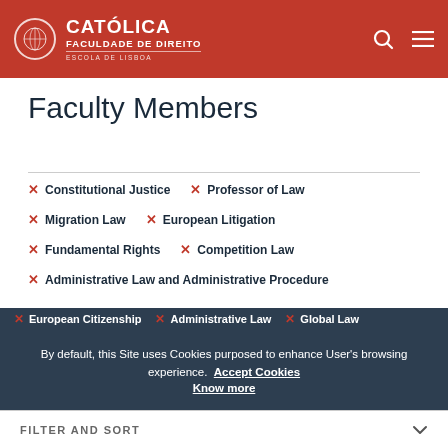CATOLICA FACULDADE DE DIREITO ESCOLA DE LISBOA
Faculty Members
× Constitutional Justice
× Professor of Law
× Migration Law
× European Litigation
× Fundamental Rights
× Competition Law
× Administrative Law and Administrative Procedure
× European Citizenship
× Administrative Law
× Global Law
By default, this Site uses Cookies purposed to enhance User's browsing experience. Accept Cookies Know more
FILTER AND SORT